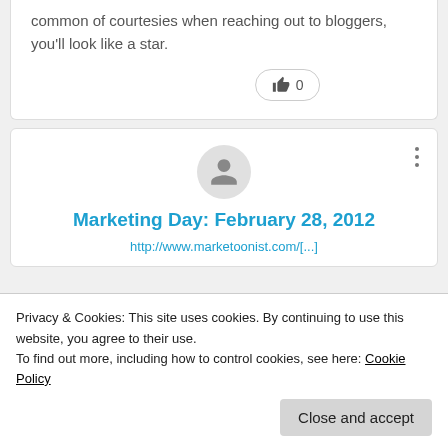common of courtesies when reaching out to bloggers, you'll look like a star.
[Figure (other): Like button with thumbs up icon and count 0]
[Figure (other): User avatar circle with person icon and three-dot menu]
Marketing Day: February 28, 2012
Privacy & Cookies: This site uses cookies. By continuing to use this website, you agree to their use.
To find out more, including how to control cookies, see here: Cookie Policy
Close and accept